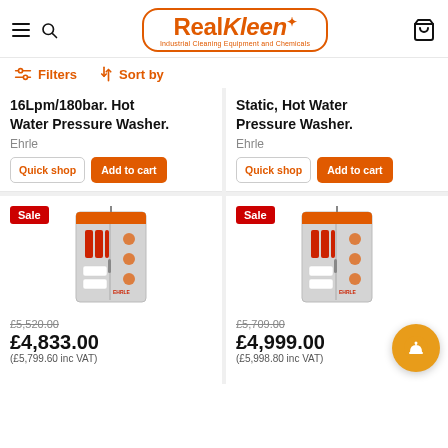RealKleen - Industrial Cleaning Equipment and Chemicals
Filters  Sort by
16Lpm/180bar. Hot Water Pressure Washer.
Ehrle
Quick shop  Add to cart
Static, Hot Water Pressure Washer.
Ehrle
Quick shop  Add to cart
[Figure (photo): Ehrle industrial hot water pressure washer cabinet unit, grey with red accents, Sale badge, price £4,833.00 (was £5,520.00, £5,799.60 inc VAT)]
[Figure (photo): Ehrle industrial hot water pressure washer cabinet unit, grey with red accents, Sale badge, price £4,999.00 (was £5,709.00, £5,998.80 inc VAT)]